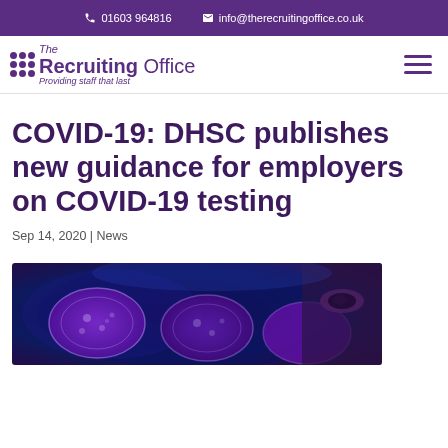01603 964816  info@therecruitingoffice.co.uk
[Figure (logo): The Recruiting Office logo with grid dots and tagline 'Providing staff that last']
COVID-19: DHSC publishes new guidance for employers on COVID-19 testing
Sep 14, 2020 | News
[Figure (photo): Laboratory scientist with petri dishes illuminated in blue and purple light]